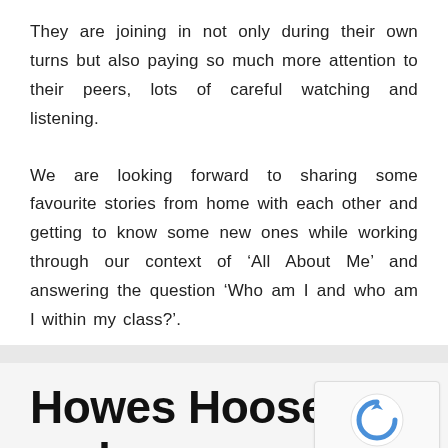They are joining in not only during their own turns but also paying so much more attention to their peers, lots of careful watching and listening.
We are looking forward to sharing some favourite stories from home with each other and getting to know some new ones while working through our context of ‘All About Me’ and answering the question ‘Who am I and who am I within my class?’.
Howes Hoose and Howes Road P.M.